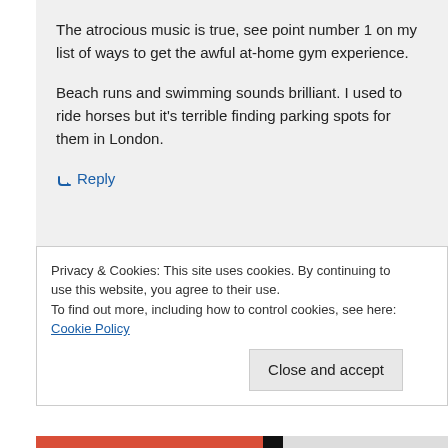The atrocious music is true, see point number 1 on my list of ways to get the awful at-home gym experience.
Beach runs and swimming sounds brilliant. I used to ride horses but it's terrible finding parking spots for them in London.
↳ Reply
Privacy & Cookies: This site uses cookies. By continuing to use this website, you agree to their use.
To find out more, including how to control cookies, see here: Cookie Policy
Close and accept